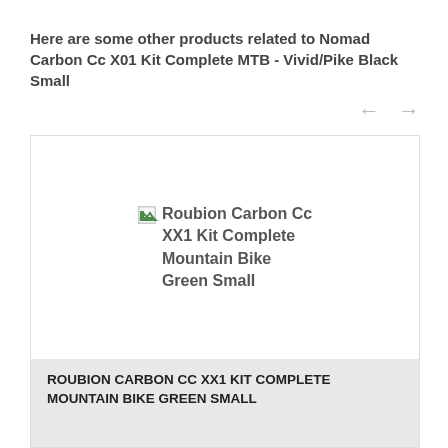Here are some other products related to Nomad Carbon Cc X01 Kit Complete MTB - Vivid/Pike Black Small
[Figure (other): Navigation arrows: left arrow and right arrow for carousel navigation]
[Figure (photo): Product image placeholder for Roubion Carbon Cc XX1 Kit Complete Mountain Bike Green Small with broken image icon]
ROUBION CARBON CC XX1 KIT COMPLETE MOUNTAIN BIKE GREEN SMALL